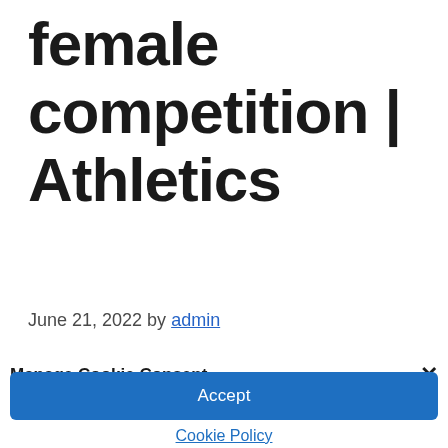female competition | Athletics
June 21, 2022 by admin
Manage Cookie Consent
We use cookies to optimize our website and our service.
Accept
Cookie Policy